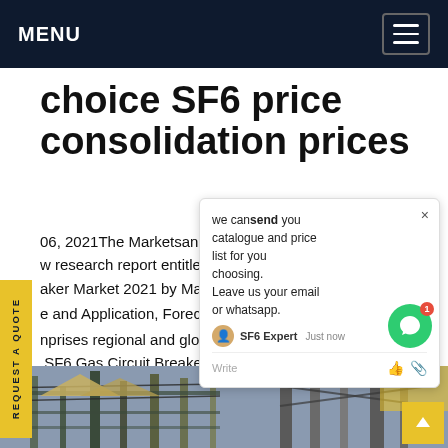MENU
choice SF6 price consolidation prices
06, 2021The MarketsandResearch...hed a new research report entitled Global...aker Market 2021 by Manufactur...e and Application, Forecast...nprises regional and global mark...on. SF6 Gas Circuit Breaker market research report...mates the market condition based on the...ection of lucrative valuations.Get price
[Figure (photo): Screenshot of a website with a popup chat widget saying 'we can send you catalogue and price list for you choosing. Leave us your email or whatsapp.' with an SF6 Expert chat button and a green chat icon]
[Figure (photo): Bottom photo showing industrial electrical infrastructure - circuit breakers or switchgear equipment outdoors]